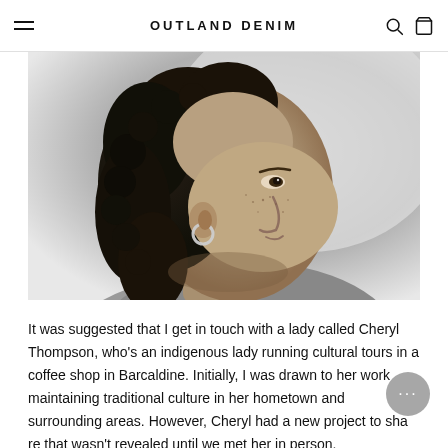OUTLAND DENIM
[Figure (photo): Black and white portrait photo of a woman with curly hair and hoop earrings, photographed from a low angle in profile, smiling slightly, with freckles visible.]
It was suggested that I get in touch with a lady called Cheryl Thompson, who's an indigenous lady running cultural tours in a coffee shop in Barcaldine. Initially, I was drawn to her work maintaining traditional culture in her hometown and surrounding areas. However, Cheryl had a new project to share that wasn't revealed until we met her in person.